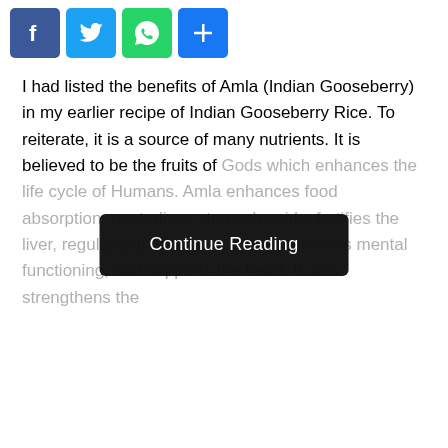[Figure (other): Social sharing icon buttons: Facebook (blue), Twitter (light blue), WhatsApp (green), Share/Plus (blue)]
I had listed the benefits of Amla (Indian Gooseberry) in my earlier recipe of Indian Gooseberry Rice. To reiterate, it is a source of many nutrients. It is believed to be the fruits of Gods which enhances the life cycle of Humans. Amla enhances food ab[…]ach acids, fortifies the liver, r[…]mental functioning, and supports the heart. It also strengthens the
Continue Reading
Previous Post
Lentil Soup with Pepper/Paruppu Rasam / Dal Rasam
Next Post
Indian Gooseberry (Amla) Pickle In Puree Form Nellikai Thokku/Amla Ki Achar